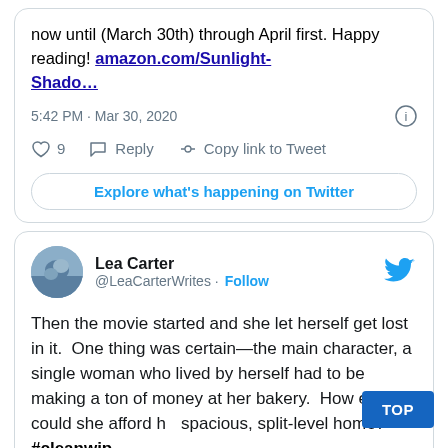now until (March 30th) through April first. Happy reading! amazon.com/Sunlight-Shado...
5:42 PM · Mar 30, 2020
9  Reply  Copy link to Tweet
Explore what's happening on Twitter
Lea Carter @LeaCarterWrites · Follow
Then the movie started and she let herself get lost in it.  One thing was certain—the main character, a single woman who lived by herself had to be making a ton of money at her bakery.  How else could she afford her spacious, split-level home? #cleanwip